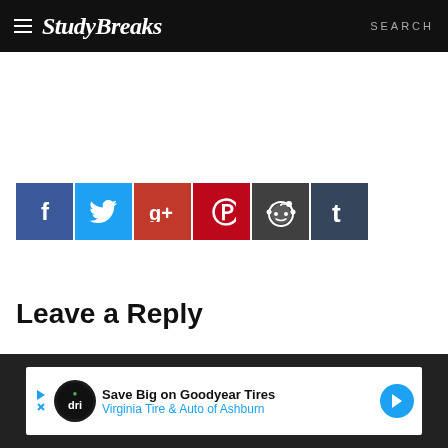StudyBreaks — SEARCH
[Figure (infographic): Social share buttons row: Facebook (blue), Twitter (light blue), Google+ (red), Pinterest (red), Reddit (dark gray), Tumblr (dark blue)]
Leave a Reply
[Figure (infographic): Facebook login/comment button (partial, cut off at bottom)]
[Figure (infographic): Advertisement banner at bottom: Save Big on Goodyear Tires — Virginia Tire & Auto of Ashburn]